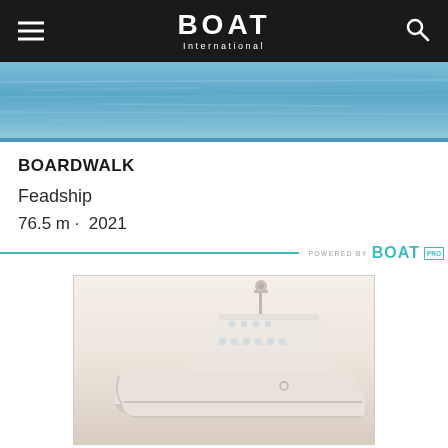BOAT International
[Figure (photo): Water surface aerial view, blue ocean/sea photograph strip]
BOARDWALK
Feadship
76.5 m · 2021
POWERED BY BOAT PRO
[Figure (photo): Side profile of a large white superyacht (Boardwalk by Feadship) viewed at a slight angle, showing multiple decks and superstructure, hazy/misty background]